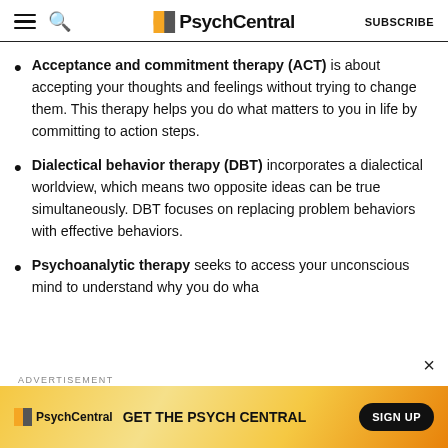PsychCentral | SUBSCRIBE
Acceptance and commitment therapy (ACT) is about accepting your thoughts and feelings without trying to change them. This therapy helps you do what matters to you in life by committing to action steps.
Dialectical behavior therapy (DBT) incorporates a dialectical worldview, which means two opposite ideas can be true simultaneously. DBT focuses on replacing problem behaviors with effective behaviors.
Psychoanalytic therapy seeks to access your unconscious mind to understand why you do wha...
[Figure (screenshot): PsychCentral advertisement banner: GET THE PSYCH CENTRAL with SIGN UP button on orange/yellow gradient background]